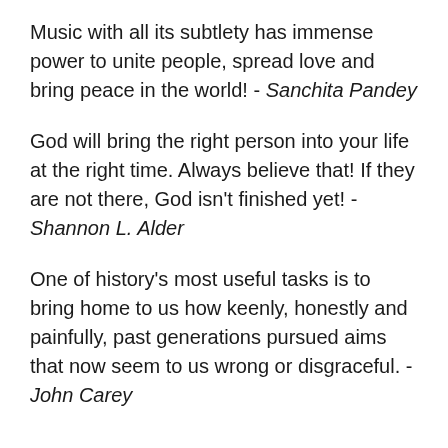Music with all its subtlety has immense power to unite people, spread love and bring peace in the world! - Sanchita Pandey
God will bring the right person into your life at the right time. Always believe that! If they are not there, God isn't finished yet! - Shannon L. Alder
One of history's most useful tasks is to bring home to us how keenly, honestly and painfully, past generations pursued aims that now seem to us wrong or disgraceful. - John Carey